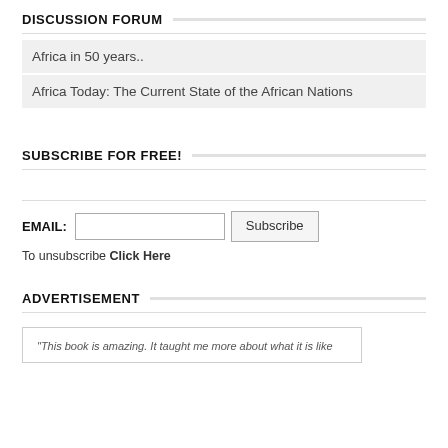DISCUSSION FORUM
Africa in 50 years..
Africa Today: The Current State of the African Nations
SUBSCRIBE FOR FREE!
EMAIL:  [input]  Subscribe
To unsubscribe Click Here
ADVERTISEMENT
"This book is amazing. It taught me more about what it is like